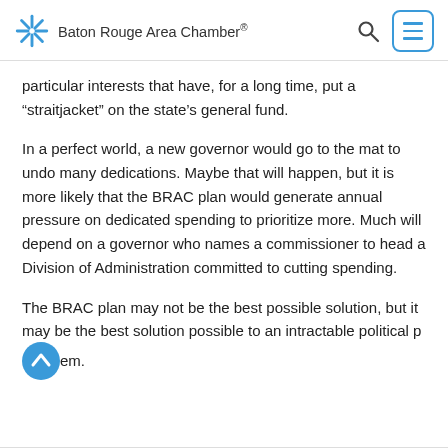Baton Rouge Area Chamber
particular interests that have, for a long time, put a “straitjacket” on the state’s general fund.
In a perfect world, a new governor would go to the mat to undo many dedications. Maybe that will happen, but it is more likely that the BRAC plan would generate annual pressure on dedicated spending to prioritize more. Much will depend on a governor who names a commissioner to head a Division of Administration committed to cutting spending.
The BRAC plan may not be the best possible solution, but it may be the best solution possible to an intractable political problem.